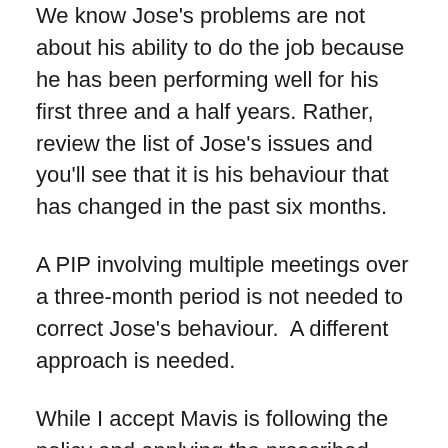We know Jose's problems are not about his ability to do the job because he has been performing well for his first three and a half years. Rather, review the list of Jose's issues and you'll see that it is his behaviour that has changed in the past six months.
A PIP involving multiple meetings over a three-month period is not needed to correct Jose's behaviour.  A different approach is needed.
While I accept Mavis is following the policy and applying the prescribed tool. My argument is this policy and the PIP tool is outdated and ineffective.
That's HR's biggest mistake; following a